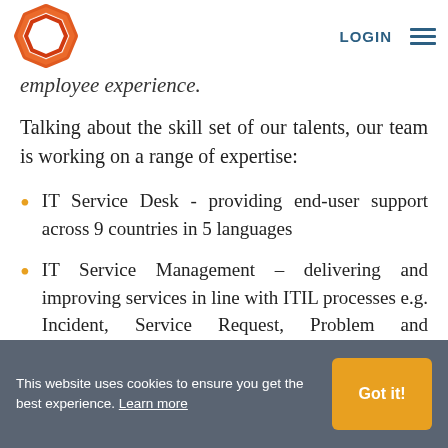LOGIN ☰
employee experience.
Talking about the skill set of our talents, our team is working on a range of expertise:
IT Service Desk - providing end-user support across 9 countries in 5 languages
IT Service Management – delivering and improving services in line with ITIL processes e.g. Incident, Service Request, Problem and Knowledge
This website uses cookies to ensure you get the best experience. Learn more